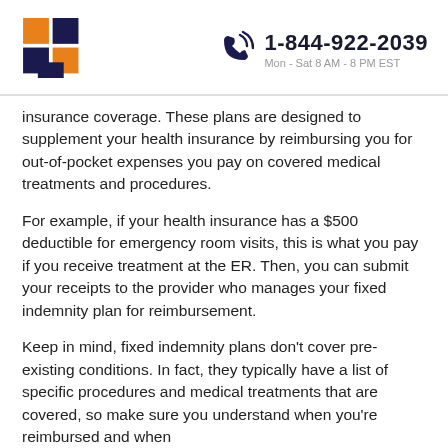[Figure (logo): Cross-shaped logo with orange and dark navy/purple squares in a plus/cross pattern]
1-844-922-2039
Mon - Sat 8 AM - 8 PM EST
insurance coverage. These plans are designed to supplement your health insurance by reimbursing you for out-of-pocket expenses you pay on covered medical treatments and procedures.
For example, if your health insurance has a $500 deductible for emergency room visits, this is what you pay if you receive treatment at the ER. Then, you can submit your receipts to the provider who manages your fixed indemnity plan for reimbursement.
Keep in mind, fixed indemnity plans don't cover pre-existing conditions. In fact, they typically have a list of specific procedures and medical treatments that are covered, so make sure you understand when you're reimbursed and when